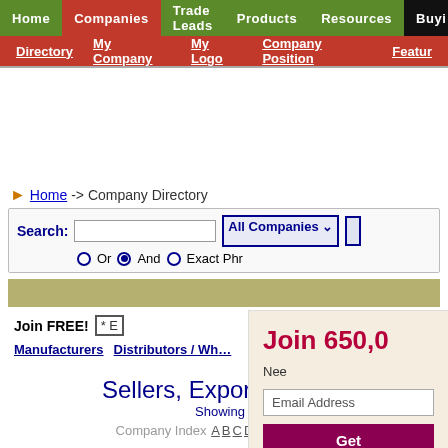Home | Companies | Trade Leads | Products | Resources | Buying
Directory | My Company | My Logo | Company Position | Featur
Home -> Company Directory
Search: [input] All Companies [dropdown]
Or (radio) And (radio) Exact Phrase
Join FREE! * E...
Manufacturers  Distributors / Wh...
38 Companies fou...
Sellers, Exporters, Mar...
Showing r...
Company Index A B C D E F G H I J K L
Join 650,0...
Nee...
Email Address
Get...